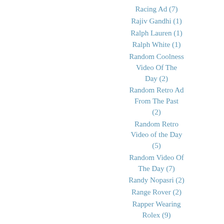Racing Ad (7)
Rajiv Gandhi (1)
Ralph Lauren (1)
Ralph White (1)
Random Coolness Video Of The Day (2)
Random Retro Ad From The Past (2)
Random Retro Video of the Day (5)
Random Video Of The Day (7)
Randy Nopasri (2)
Range Rover (2)
Rapper Wearing Rolex (9)
Rare GMT Master (1)